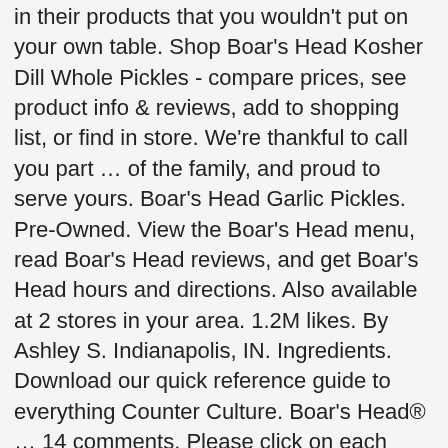in their products that you wouldn't put on your own table. Shop Boar's Head Kosher Dill Whole Pickles - compare prices, see product info & reviews, add to shopping list, or find in store. We're thankful to call you part … of the family, and proud to serve yours. Boar's Head Garlic Pickles. Pre-Owned. View the Boar's Head menu, read Boar's Head reviews, and get Boar's Head hours and directions. Also available at 2 stores in your area. 1.2M likes. By Ashley S. Indianapolis, IN. Ingredients. Download our quick reference guide to everything Counter Culture. Boar's Head® … 14 comments. Please click on each retailer to see that retailer's price for this product. Stay tuned for delicious content from Boar's Head. 276 reviews. Kosher Dill Pickle Chips. Explore deli tips, tools, and more through our interactive hub. ShopRite of Forest Hill ShopRite Not your store? Boar's Head 7 de setembro às 05:30 From your main dish and toppings to sides and sweets, Boar's Head ha … s all the flavorful options you need for a delicious backyard barbecue. Boar's Head Sweet Pickle Chips with Horseradish Gluten Free at